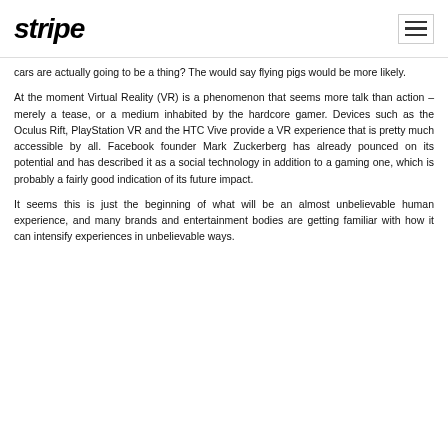stripe
cars are actually going to be a thing? The would say flying pigs would be more likely.
At the moment Virtual Reality (VR) is a phenomenon that seems more talk than action – merely a tease, or a medium inhabited by the hardcore gamer. Devices such as the Oculus Rift, PlayStation VR and the HTC Vive provide a VR experience that is pretty much accessible by all. Facebook founder Mark Zuckerberg has already pounced on its potential and has described it as a social technology in addition to a gaming one, which is probably a fairly good indication of its future impact.
It seems this is just the beginning of what will be an almost unbelievable human experience, and many brands and entertainment bodies are getting familiar with how it can intensify experiences in unbelievable ways.